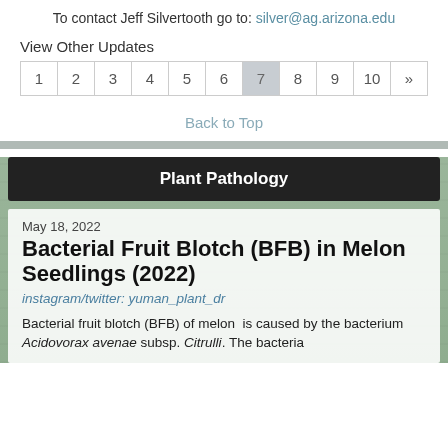To contact Jeff Silvertooth go to: silver@ag.arizona.edu
View Other Updates
| 1 | 2 | 3 | 4 | 5 | 6 | 7 | 8 | 9 | 10 | » |
| --- | --- | --- | --- | --- | --- | --- | --- | --- | --- | --- |
Back to Top
Plant Pathology
May 18, 2022
Bacterial Fruit Blotch (BFB) in Melon Seedlings (2022)
instagram/twitter: yuman_plant_dr
Bacterial fruit blotch (BFB) of melon  is caused by the bacterium Acidovorax avenae subsp. Citrulli. The bacteria